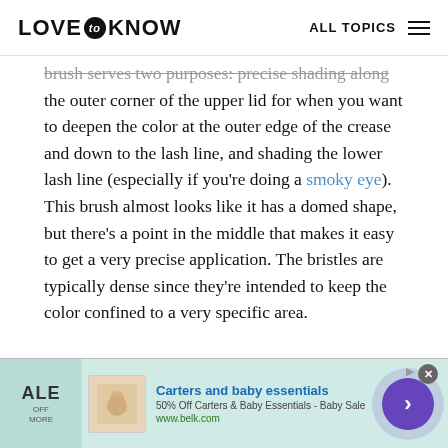LOVE to KNOW   ALL TOPICS
brush serves two purposes: precise shading along the outer corner of the upper lid for when you want to deepen the color at the outer edge of the crease and down to the lash line, and shading the lower lash line (especially if you're doing a smoky eye). This brush almost looks like it has a domed shape, but there's a point in the middle that makes it easy to get a very precise application. The bristles are typically dense since they're intended to keep the color confined to a very specific area.
[Figure (photo): Close-up photo of a makeup brush with blonde/light bristles fanning out, held by fingers, on a blurred background.]
[Figure (screenshot): Advertisement banner for Carters and baby essentials from belk.com. Shows 50% Off Carters & Baby Essentials - Baby Sale, www.belk.com, with a purple arrow circle button.]